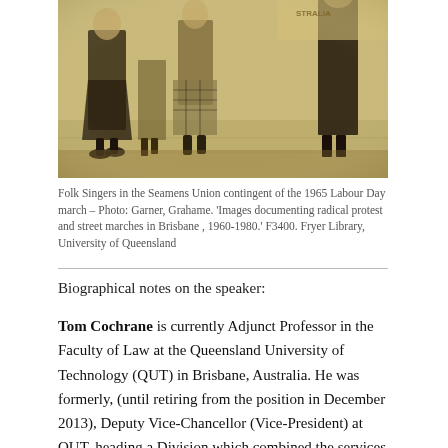[Figure (photo): Sepia-toned photograph of folk singers in the Seamens Union contingent of the 1965 Labour Day march, showing people walking with a banner visible in the background]
Folk Singers in the Seamens Union contingent of the 1965 Labour Day march – Photo: Garner, Grahame. 'Images documenting radical protest and street marches in Brisbane , 1960-1980.' F3400. Fryer Library, University of Queensland
Biographical notes on the speaker:
Tom Cochrane is currently Adjunct Professor in the Faculty of Law at the Queensland University of Technology (QUT) in Brisbane, Australia. He was formerly, (until retiring from the position in December 2013), Deputy Vice-Chancellor (Vice-President) at QUT, heading a Division which combined the services of the Libraries, Information